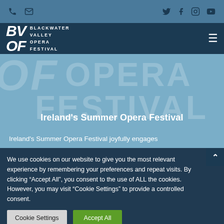Blackwater Valley Opera Festival - navigation bar with phone, email, Twitter, Facebook, Instagram, YouTube icons
[Figure (logo): Blackwater Valley Opera Festival logo with BVOF letters and hamburger menu icon on dark blue nav bar]
[Figure (screenshot): Hero section with large watermark text 'OF OPERA FESTIVAL' and subtitle 'Ireland's Summer Opera Festival' on light blue background]
Ireland's Summer Opera Festival joyfully engages
We use cookies on our website to give you the most relevant experience by remembering your preferences and repeat visits. By clicking "Accept All", you consent to the use of ALL the cookies. However, you may visit "Cookie Settings" to provide a controlled consent.